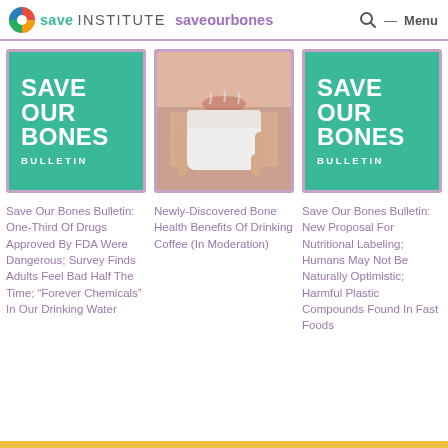Save Institute saveourbones
[Figure (logo): Save Institute and Save Our Bones logo with colorful circle icon]
[Figure (illustration): Teal square with white text: SAVE OUR BONES BULLETIN - first card]
[Figure (photo): Photo of woman holding a coffee cup close to her face]
[Figure (illustration): Teal square with white text: SAVE OUR BONES BULLETIN - third card]
Save Our Bones Bulletin: One-Third Of Drugs Approved By FDA Were Dangerous; Survey Finds Adults Feel Bad Half The Time; “Forever Chemicals” In Our Drinking Water
Newly-Discovered Bone Health Benefits Of Drinking Coffee (In Moderation)
Save Our Bones Bulletin: New Proposal For Nutritional Labeling; Humans May Not Be Naturally Optimistic; Harmful Plastic Compounds Found In Fast Foods